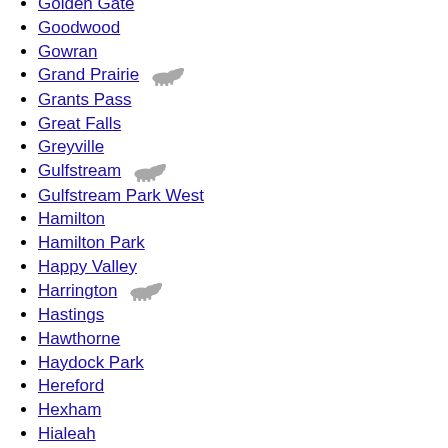Golden Gate
Goodwood
Gowran
Grand Prairie 🏇
Grants Pass
Great Falls
Greyville
Gulfstream 🏇
Gulfstream Park West
Hamilton
Hamilton Park
Happy Valley
Harrington 🏇
Hastings
Hawthorne
Haydock Park
Hereford
Hexham
Hialeah
Hong Kong
Hoosier Park
Horseman's Park
Horseshoe Indianapolis
Horsham